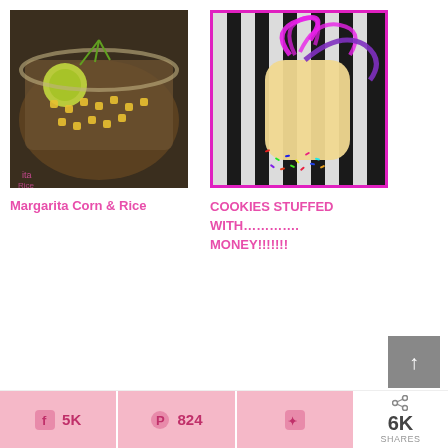[Figure (photo): Bowl of Margarita Corn & Rice dish with lime slices and herbs]
Margarita Corn & Rice
[Figure (photo): Cookies stuffed with money, decorated with colorful ribbons on striped background, pink border]
COOKIES STUFFED WITH…………. MONEY!!!!!!!
5K  824  6K SHARES